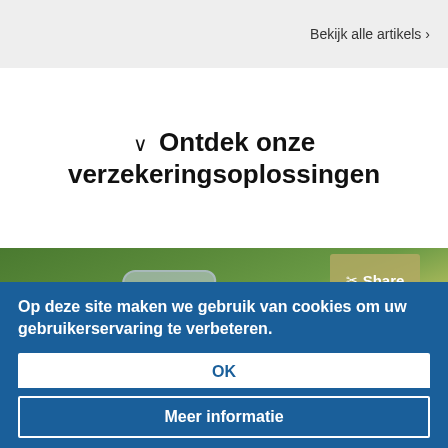Bekijk alle artikels >
✓ Ontdek onze verzekeringsoplossingen
[Figure (photo): Tractor or farm vehicle seen from behind driving through green vegetation, with a Share button overlay in the top right of the image]
Op deze site maken we gebruik van cookies om uw gebruikerservaring te verbeteren.
OK
Meer informatie